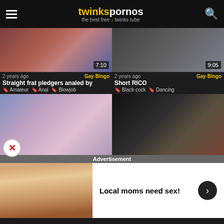twinkspornos — the best free twinks tube
[Figure (screenshot): Video thumbnail 1 with duration 7:10]
[Figure (screenshot): Video thumbnail 2 with duration 9:05]
2 years ago | Gay Bingo
Straight frat pledgers analed by
Amateur | Anal | Blowjob
2 years ago | Gay Bingo
Short RICO
Black cock | Dancing
[Figure (screenshot): Video thumbnail 3 with duration 0:14]
[Figure (screenshot): Video thumbnail 4 with duration 1:05]
4 months ago | xHamster
Play in my...
Arab
6 years ago | xHamster
[Figure (screenshot): Advertisement banner: Local moms need sex!]